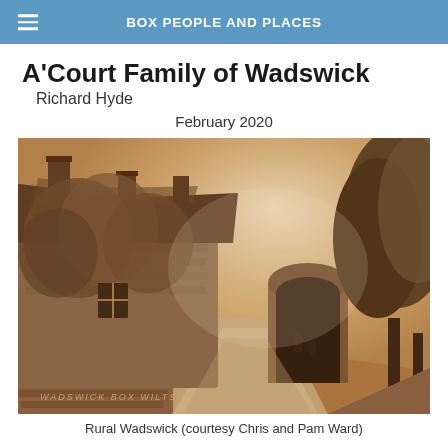BOX PEOPLE AND PLACES
A'Court Family of Wadswick   Richard Hyde
February 2020
[Figure (photo): Sepia-toned vintage photograph of a rural village scene in Wadswick, Box, Wilts. Shows old stone cottages with chimneys, ivy-covered walls, a road, and trees. Caption text at bottom of photo reads 'WADSWICK BOX WILTS'.]
Rural Wadswick (courtesy Chris and Pam Ward)